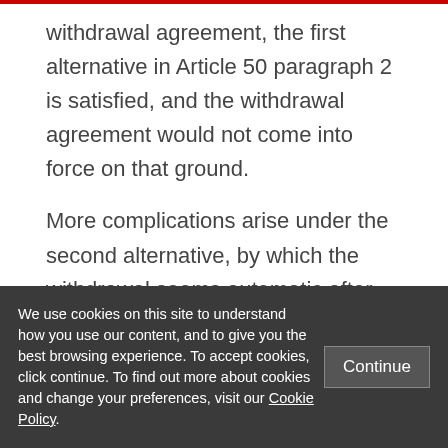withdrawal agreement, the first alternative in Article 50 paragraph 2 is satisfied, and the withdrawal agreement would not come into force on that ground.
More complications arise under the second alternative, by which the withdrawal seems automatic after two years “unless the European Council, in agreement with the Member State concerned, unanimously
We use cookies on this site to understand how you use our content, and to give you the best browsing experience. To accept cookies, click continue. To find out more about cookies and change your preferences, visit our Cookie Policy.